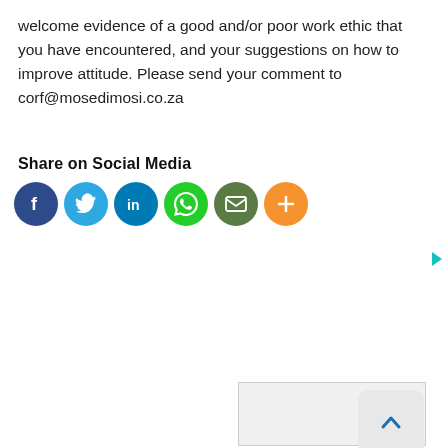welcome evidence of a good and/or poor work ethic that you have encountered, and your suggestions on how to improve attitude. Please send your comment to corf@mosedimosi.co.za
Share on Social Media
[Figure (infographic): Social media sharing icons: Facebook (dark blue), Twitter (light blue), LinkedIn (blue), WhatsApp (green), Email (olive green), More/Plus (orange)]
[Figure (other): Advertisement placeholder box with border and a scroll-to-top button]